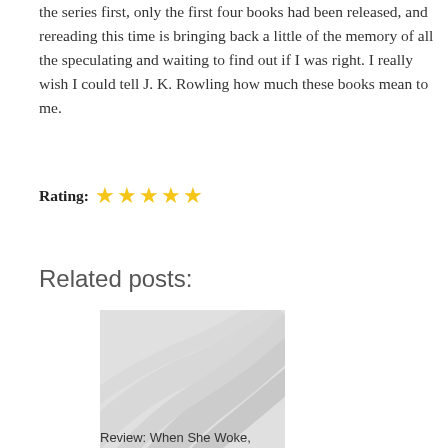the series first, only the first four books had been released, and rereading this time is bringing back a little of the memory of all the speculating and waiting to find out if I was right. I really wish I could tell J. K. Rowling how much these books mean to me.
Rating: ★★★★★
Related posts:
[Figure (illustration): Placeholder image thumbnail with diagonal grey swirl pattern, representing a related post image]
Review: When She Woke,